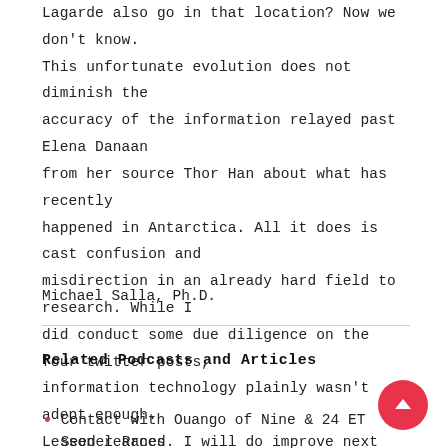Lagarde also go in that location? Now we don't know. This unfortunate evolution does not diminish the accuracy of the information relayed past Elena Danaan from her source Thor Han about what has recently happened in Antarctica. All it does is cast confusion and misdirection in an already hard field to research. While I did conduct some due diligence on the four twitter posts, information technology plainly wasn't adept enough. Lesson learned. I will do improve next time. Fool me one time shame on you. Fool me twice …
Michael Salla, Ph.D.
Related Podcasts and Articles
Contact with Ouango of Nine & 24 ET Seeder Races